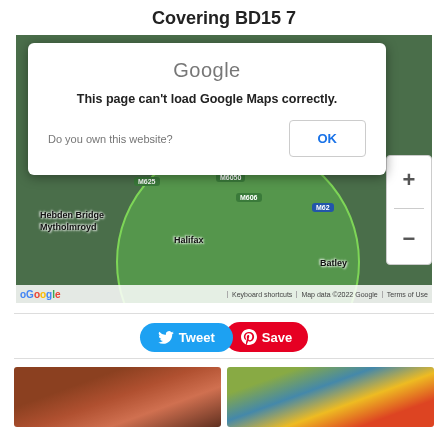Covering BD15 7
[Figure (map): Google Maps showing BD15 7 area with a green circle overlay. Shows roads M606, M62, M625, and places including Hebden Bridge, Mytholmroyd, Halifax, Batley. A Google Maps error dialog appears over the map saying 'This page can't load Google Maps correctly.' with 'Do you own this website?' and an OK button. Zoom controls (+/-) visible on right side. Map attribution shows 'Google', 'Keyboard shortcuts', 'Map data ©2022 Google', 'Terms of Use'.]
[Figure (infographic): Tweet and Save social sharing buttons]
[Figure (photo): Two photos at the bottom: left shows a building/nursery exterior, right shows a colourful playground equipment]